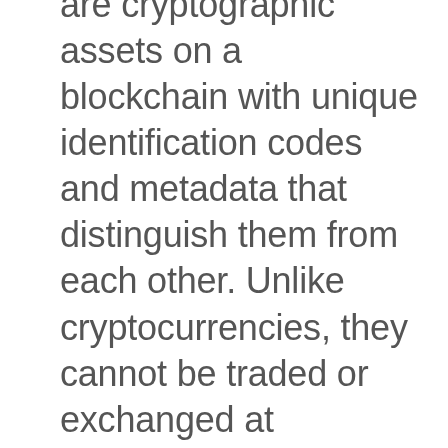are cryptographic assets on a blockchain with unique identification codes and metadata that distinguish them from each other. Unlike cryptocurrencies, they cannot be traded or exchanged at equivalency. This differs from fungible tokens like cryptocurrencies, which are identical to each other and, therefore, can serve as a medium for commercial...